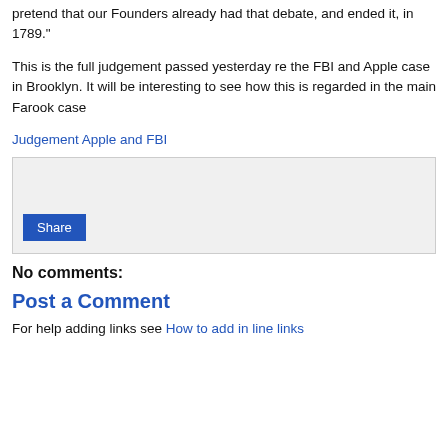pretend that our Founders already had that debate, and ended it, in 1789."
This is the full judgement passed yesterday re the FBI and Apple case in Brooklyn. It will be interesting to see how this is regarded in the main Farook case
Judgement Apple and FBI
Share
No comments:
Post a Comment
For help adding links see How to add in line links